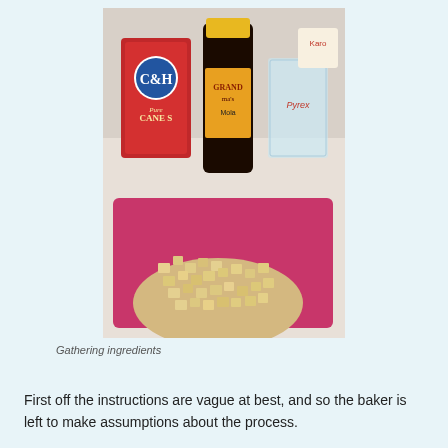[Figure (photo): A photo of baking ingredients on a kitchen counter: a bag of C&H Pure Cane Sugar, a bottle of Grandma's Molasses with yellow cap, a Pyrex measuring cup, and a pink cutting board covered with small cubed bread pieces.]
Gathering ingredients
First off the instructions are vague at best, and so the baker is left to make assumptions about the process.